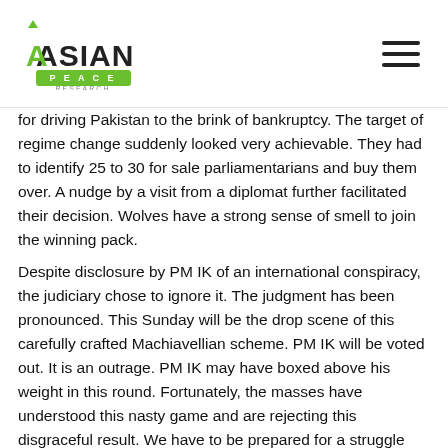Asian Peace Research logo and navigation
for driving Pakistan to the brink of bankruptcy. The target of regime change suddenly looked very achievable. They had to identify 25 to 30 for sale parliamentarians and buy them over. A nudge by a visit from a diplomat further facilitated their decision. Wolves have a strong sense of smell to join the winning pack.
Despite disclosure by PM IK of an international conspiracy, the judiciary chose to ignore it. The judgment has been pronounced. This Sunday will be the drop scene of this carefully crafted Machiavellian scheme. PM IK will be voted out. It is an outrage. PM IK may have boxed above his weight in this round. Fortunately, the masses have understood this nasty game and are rejecting this disgraceful result. We have to be prepared for a struggle between the will of the people standing behind PM IK versus a rule by the corrupt for the corrupt.
The writer is the director of CERF, a non-profit, charitable organisation in Canada.
(Courtesy Daily Times, Pakistan)